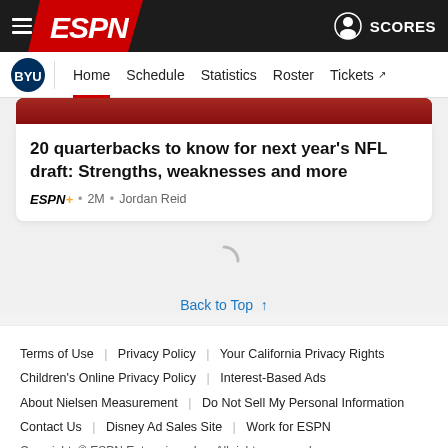ESPN | Home | Schedule | Statistics | Roster | Tickets | SCORES
[Figure (screenshot): Partial image of football players in red and white uniforms at the top of a content card]
20 quarterbacks to know for next year's NFL draft: Strengths, weaknesses and more
ESPN+ • 2M • Jordan Reid
Back to Top ↑
Terms of Use | Privacy Policy | Your California Privacy Rights | Children's Online Privacy Policy | Interest-Based Ads | About Nielsen Measurement | Do Not Sell My Personal Information | Contact Us | Disney Ad Sales Site | Work for ESPN | Copyright: © ESPN Enterprises, Inc. All rights reserved.